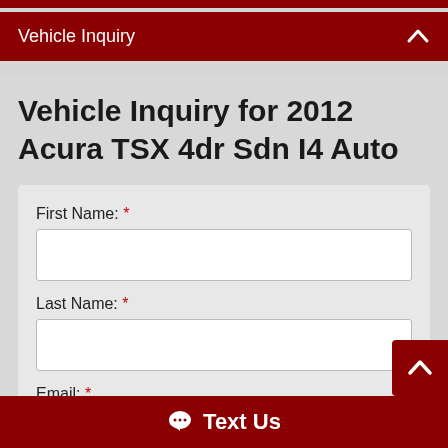Vehicle Inquiry
Vehicle Inquiry for 2012 Acura TSX 4dr Sdn I4 Auto
First Name: *
Last Name: *
Email: *
example@example.com
Text Us